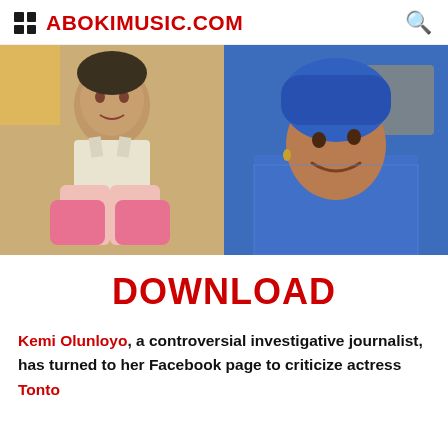ABOKIMUSIC.COM
[Figure (photo): Side-by-side photos: left shows a woman in a white/pink outfit wearing pink gloves seated, right shows a smiling woman in a blue patterned outfit and blue head wrap]
DOWNLOAD
Kemi Olunloyo, a controversial investigative journalist, has turned to her Facebook page to criticize actress Tonto